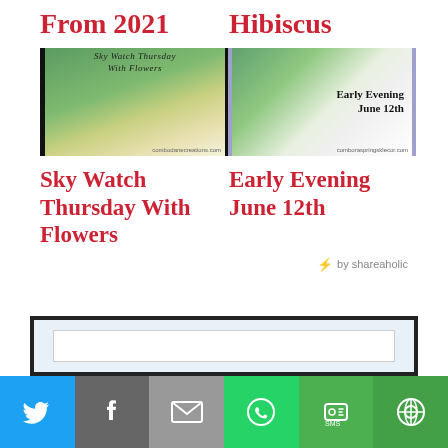From 2021
Hibiscus
[Figure (photo): Sky Watch Thursday With Flowers thumbnail - flowers and greenery with Sky Watch Thursday With Flowers text overlay]
[Figure (photo): Early Evening June 12th thumbnail - white hibiscus flower with Early Evening June 12th text overlay]
Sky Watch Thursday With Flowers
Early Evening June 12th
by shareaholic
[Figure (screenshot): Partial widget/subscribe box at bottom of page]
Twitter | Facebook | Email | WhatsApp | SMS | More share buttons